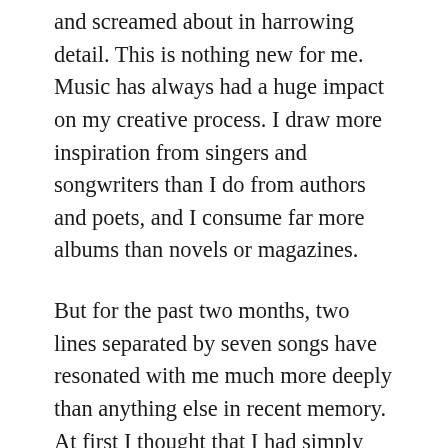and screamed about in harrowing detail. This is nothing new for me. Music has always had a huge impact on my creative process. I draw more inspiration from singers and songwriters than I do from authors and poets, and I consume far more albums than novels or magazines.
But for the past two months, two lines separated by seven songs have resonated with me much more deeply than anything else in recent memory. At first I thought that I had simply fallen in love with the songwriter's vulnerability, but then I came to realise that they have made me begin to examine the dualism in my own existence far more closely